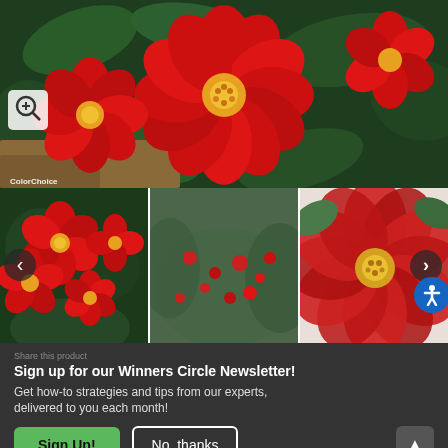[Figure (photo): Large main image of red roses with yellow centers against dark green foliage. A zoom icon and 'ColorChoice' label visible in lower left.]
[Figure (photo): Thumbnail carousel of three rose photos: multiple red roses in a garden, a wide shot of red blooming rose bush, and a close-up single red rose bloom. Navigation arrows and accessibility icon visible.]
Share this product
Sign up for our Winners Circle Newsletter! Get how-to strategies and tips from our experts, delivered to you each month!
Sign Up!
No, thanks
Exposure